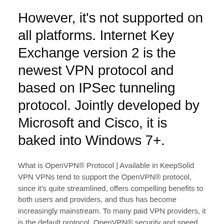However, it's not supported on all platforms. Internet Key Exchange version 2 is the newest VPN protocol and based on IPSec tunneling protocol. Jointly developed by Microsoft and Cisco, it is baked into Windows 7+.
What is OpenVPN® Protocol | Available in KeepSolid VPN VPNs tend to support the OpenVPN® protocol, since it's quite streamlined, offers compelling benefits to both users and providers, and thus has become increasingly mainstream. To many paid VPN providers, it is the default protocol. OpenVPN® security and speed. One of the reasons for OpenVPN®'s popularity is its security. It uses a custom VPNs are the unexpected coronavirus winners - Protocol Mar 04, 2020 What is a VPN protocol? The most popular VPN protocols